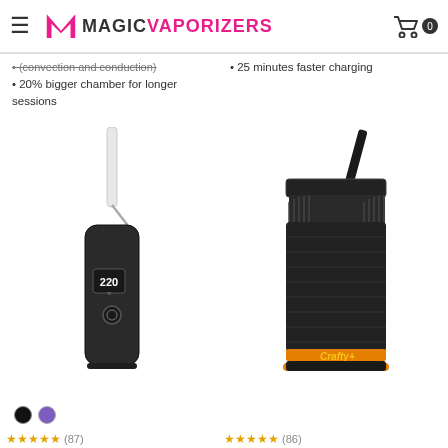Magic Vaporizers
(convection and conduction)
20% bigger chamber for longer sessions
25 minutes faster charging
[Figure (photo): Dark gray portable vaporizer device with white mouthpiece and OLED display showing 220]
[Figure (photo): Crafty+ portable vaporizer with ribbed body design and angled mouthpiece, showing orange Crafty+ logo]
Color swatches: black and purple
(87) rating stars
(86) rating stars